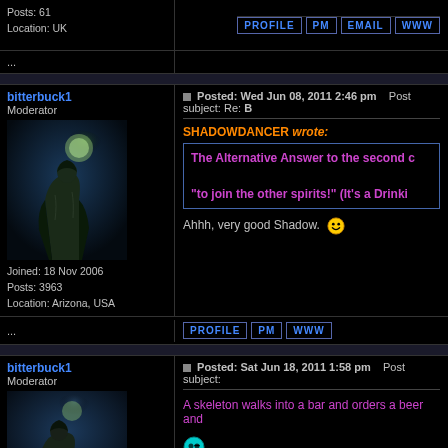Posts: 61
Location: UK
...
PROFILE PM EMAIL WWW
bitterbuck1
Moderator
Joined: 18 Nov 2006
Posts: 3963
Location: Arizona, USA
Posted: Wed Jun 08, 2011 2:46 pm   Post subject: Re: [truncated]
SHADOWDANCER wrote:
The Alternative Answer to the second c[truncated]
"to join the other spirits!" (It's a Drinkin[truncated]
Ahhh, very good Shadow. 😀
...
PROFILE PM WWW
bitterbuck1
Moderator
Posted: Sat Jun 18, 2011 1:58 pm   Post subject:
A skeleton walks into a bar and orders a beer and[truncated]